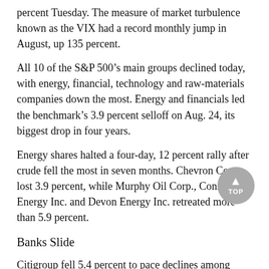percent Tuesday. The measure of market turbulence known as the VIX had a record monthly jump in August, up 135 percent.
All 10 of the S&P 500’s main groups declined today, with energy, financial, technology and raw-materials companies down the most. Energy and financials led the benchmark’s 3.9 percent selloff on Aug. 24, its biggest drop in four years.
Energy shares halted a four-day, 12 percent rally after crude fell the most in seven months. Chevron Corp. lost 3.9 percent, while Murphy Oil Corp., Consol Energy Inc. and Devon Energy Inc. retreated more than 5.9 percent.
Banks Slide
Citigroup fell 5.4 percent to pace declines among financial companies, where all 88 stocks in the group retreated. E*Trade Financial Corp. and Lincoln National Corp. decreased at least 5 percent. The KBW Bank Index sank 4.5 percent, on track for its second-biggest drop this year, with 23 of the gauge’s 24 members down at least 3 percent.
A handful of stocks that had driven much of the S&P 500’s 2015 gains before the August selloff were under pressure Tuesday. Facebook Inc., Amazon.com Inc., Apple Inc., Netflix Inc. and Google Inc. -- which had come to be known as the Fab Five -- were all down at least 2.8 percent. Amazon also took the